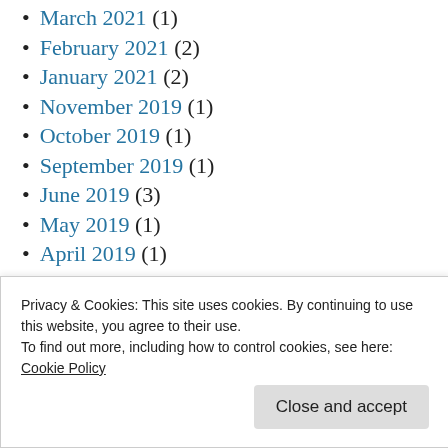March 2021 (1)
February 2021 (2)
January 2021 (2)
November 2019 (1)
October 2019 (1)
September 2019 (1)
June 2019 (3)
May 2019 (1)
April 2019 (1)
March 2019 (1)
February 2019 (2)
Privacy & Cookies: This site uses cookies. By continuing to use this website, you agree to their use.
To find out more, including how to control cookies, see here:
Cookie Policy
Close and accept